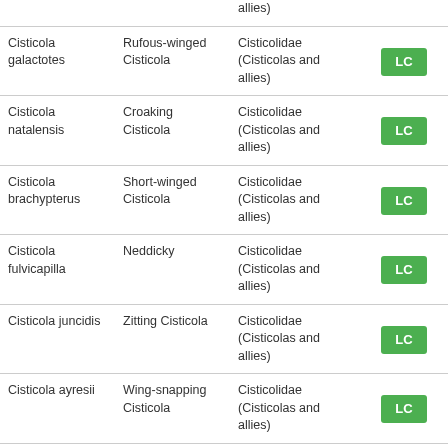|  | allies) |  |  |
| Cisticola galactotes | Rufous-winged Cisticola | Cisticolidae (Cisticolas and allies) | LC |
| Cisticola natalensis | Croaking Cisticola | Cisticolidae (Cisticolas and allies) | LC |
| Cisticola brachypterus | Short-winged Cisticola | Cisticolidae (Cisticolas and allies) | LC |
| Cisticola fulvicapilla | Neddicky | Cisticolidae (Cisticolas and allies) | LC |
| Cisticola juncidis | Zitting Cisticola | Cisticolidae (Cisticolas and allies) | LC |
| Cisticola ayresii | Wing-snapping Cisticola | Cisticolidae (Cisticolas and allies) | LC |
| Prinia subflava | Tawny-flanked Prinia | Cisticolidae (Cisticolas and allies) | LC |